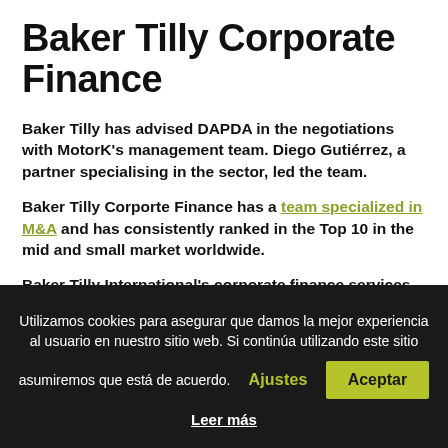Baker Tilly Corporate Finance
Baker Tilly has advised DAPDA in the negotiations with MotorK's management team. Diego Gutiérrez, a partner specialising in the sector, led the team.
Baker Tilly Corporte Finance has a team specialized in M&A and has consistently ranked in the Top 10 in the mid and small market worldwide.
Baker Tilly International's corporate finance services include advising on cross-border transactions for clients doing business in multiple locations. Baker
Utilizamos cookies para asegurar que damos la mejor experiencia al usuario en nuestro sitio web. Si continúa utilizando este sitio asumiremos que está de acuerdo. Ajustes Aceptar Leer más